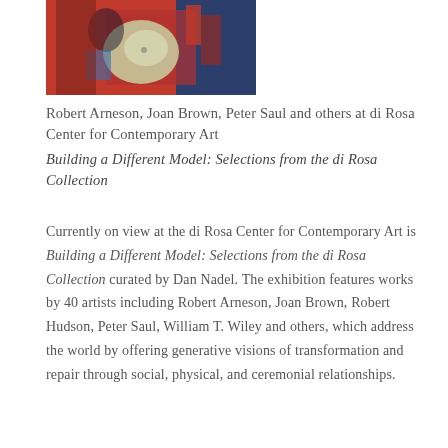[Figure (photo): A colorful abstract or expressionist painting featuring red, blue, and light gray/green tones with figures or shapes, cropped at top of page.]
Robert Arneson, Joan Brown, Peter Saul and others at di Rosa Center for Contemporary Art
Building a Different Model: Selections from the di Rosa Collection
Currently on view at the di Rosa Center for Contemporary Art is Building a Different Model: Selections from the di Rosa Collection curated by Dan Nadel. The exhibition features works by 40 artists including Robert Arneson, Joan Brown, Robert Hudson, Peter Saul, William T. Wiley and others, which address the world by offering generative visions of transformation and repair through social, physical, and ceremonial relationships.